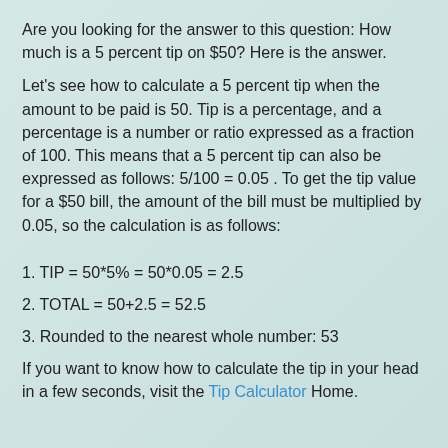Are you looking for the answer to this question: How much is a 5 percent tip on $50? Here is the answer.
Let's see how to calculate a 5 percent tip when the amount to be paid is 50. Tip is a percentage, and a percentage is a number or ratio expressed as a fraction of 100. This means that a 5 percent tip can also be expressed as follows: 5/100 = 0.05 . To get the tip value for a $50 bill, the amount of the bill must be multiplied by 0.05, so the calculation is as follows:
1. TIP = 50*5% = 50*0.05 = 2.5
2. TOTAL = 50+2.5 = 52.5
3. Rounded to the nearest whole number: 53
If you want to know how to calculate the tip in your head in a few seconds, visit the Tip Calculator Home.